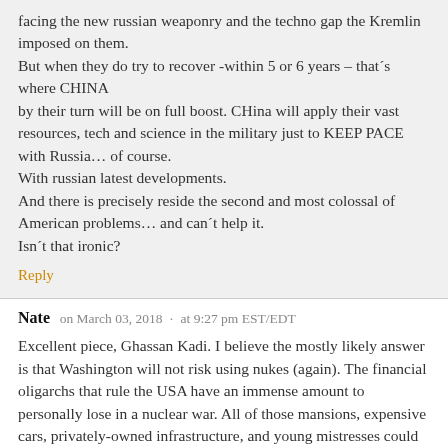facing the new russian weaponry and the techno gap the Kremlin imposed on them.
But when they do try to recover -within 5 or 6 years – that´s where CHINA
by their turn will be on full boost. CHina will apply their vast resources, tech and science in the military just to KEEP PACE with Russia… of course.
With russian latest developments.
And there is precisely reside the second and most colossal of American problems… and can´t help it.
Isn´t that ironic?
Reply
Nate  on March 03, 2018 · at 9:27 pm EST/EDT
Excellent piece, Ghassan Kadi. I believe the mostly likely answer is that Washington will not risk using nukes (again). The financial oligarchs that rule the USA have an immense amount to personally lose in a nuclear war. All of those mansions, expensive cars, privately-owned infrastructure, and young mistresses could be gone in the blink of an eye. And any US nuclear attack on a non-nuclear country has a serious chance of quickly escalating